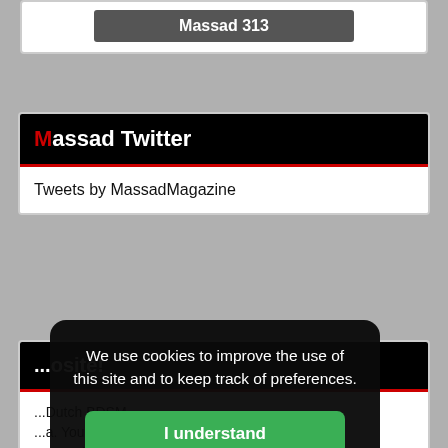[Figure (screenshot): Button labeled Massad 313 on dark grey background]
Massad Twitter
Tweets by MassadMagazine
...osite!
Dutch BDSM... You will find party ...ses, shops and ...n of Massad as ...PDF file without a subscription at € 5.- per copy (issue) or take a digital subscription for one year at 6.95... and have access to all
We use cookies to improve the use of this site and to keep track of preferences.
I understand
More information